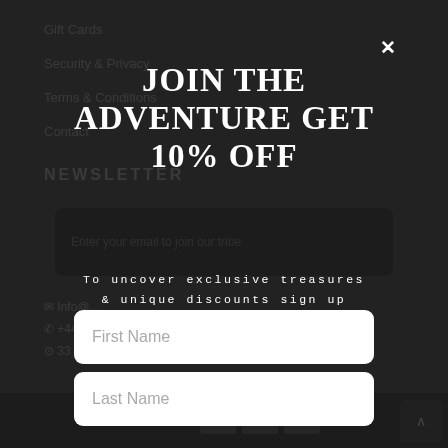Gift Cards
Security & Privacy
Terms & Conditions
Contact
NEWSLETTER
JOIN THE ADVENTURE GET 10% OFF
To uncover exclusive treasures & unique discounts sign up here!
First Name
Last Name
Email
Submit